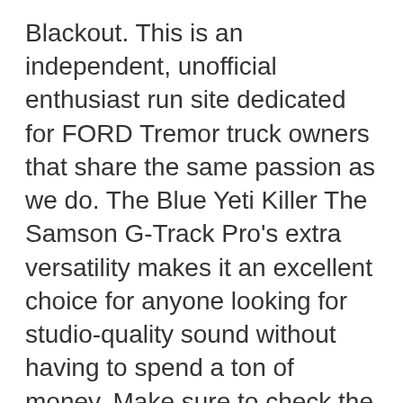Blackout. This is an independent, unofficial enthusiast run site dedicated for FORD Tremor truck owners that share the same passion as we do. The Blue Yeti Killer The Samson G-Track Pro's extra versatility makes it an excellent choice for anyone looking for studio-quality sound without having to spend a ton of money. Make sure to check the full review by following the link below: Sign up for our mailing list to receive new product alerts, special offers, and coupon codes. USB Microphone Integrated 16Bit / 48kHz USB audio interface with headphone jack, 3 Microphone capsules (14mm - polar pattern: cardioid, figure-eight, omnidirectional, stereo), Frequency range: 20 -... (11) Blue Yeticaster Studio. Yours looks awesome! Blue yeti in vendita: scopri